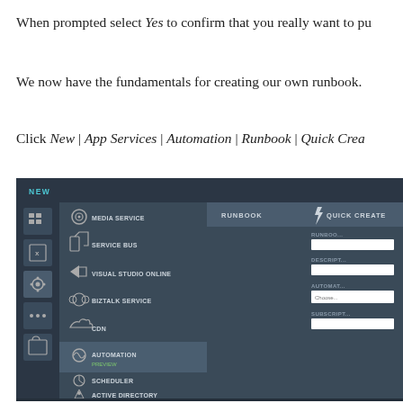When prompted select Yes to confirm that you really want to pu...
We now have the fundamentals for creating our own runbook.
Click New | App Services | Automation | Runbook | Quick Crea...
[Figure (screenshot): Azure portal screenshot showing New menu with App Services > Automation selected, and Runbook and Quick Create panels visible on the right.]